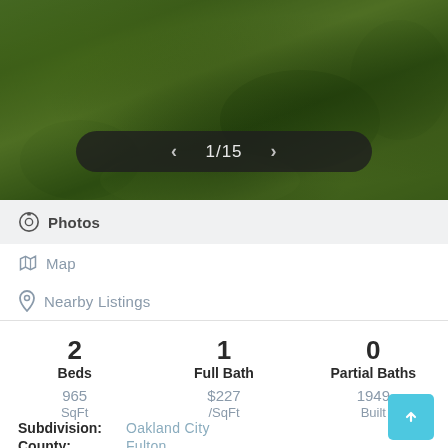[Figure (photo): Outdoor photo showing green grass lawn, image navigation pill overlay showing 1/15]
Photos
Map
Nearby Listings
2 Beds
1 Full Bath
0 Partial Baths
965 SqFt
$227 /SqFt
1949 Built
Subdivision: Oakland City
County: Fulton